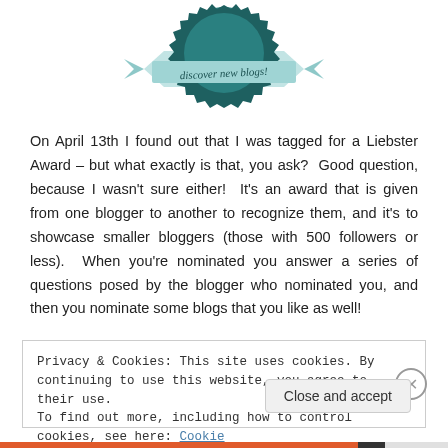[Figure (illustration): Liebster Award badge — teal circular seal with zigzag border and a light-blue ribbon banner reading 'discover new blogs!']
On April 13th I found out that I was tagged for a Liebster Award – but what exactly is that, you ask?  Good question, because I wasn't sure either!  It's an award that is given from one blogger to another to recognize them, and it's to showcase smaller bloggers (those with 500 followers or less).  When you're nominated you answer a series of questions posed by the blogger who nominated you, and then you nominate some blogs that you like as well!
Privacy & Cookies: This site uses cookies. By continuing to use this website, you agree to their use.
To find out more, including how to control cookies, see here: Cookie Policy
Close and accept